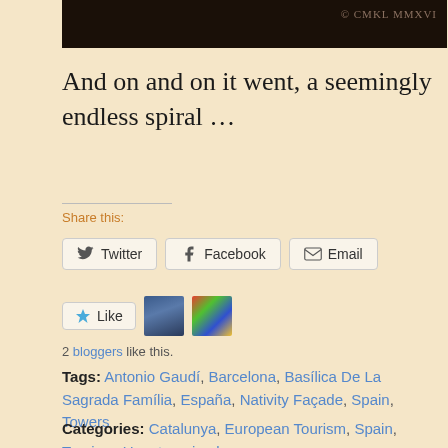[Figure (photo): Dark photo strip at the top with copyright text '© CMKL MMXVI' in the upper right corner]
And on and on it went, a seemingly endless spiral …
Share this:
Twitter  Facebook  Email
Like  [avatar1] [avatar2]
2 bloggers like this.
Tags: Antonio Gaudí, Barcelona, Basílica De La Sagrada Família, España, Nativity Façade, Spain, Towers
Categories: Catalunya, European Tourism, Spain, Tourism, Uncategorized